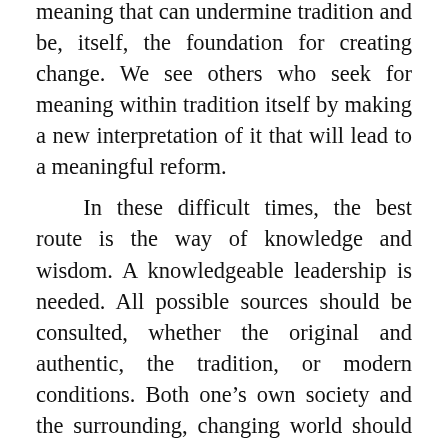meaning that can undermine tradition and be, itself, the foundation for creating change. We see others who seek for meaning within tradition itself by making a new interpretation of it that will lead to a meaningful reform.

In these difficult times, the best route is the way of knowledge and wisdom. A knowledgeable leadership is needed. All possible sources should be consulted, whether the original and authentic, the tradition, or modern conditions. Both one's own society and the surrounding, changing world should be studied. Both one's own tradition and other traditions should be studied. By the study of tradition, we will learn to appreciate many parts of it. Many other parts that we cannot